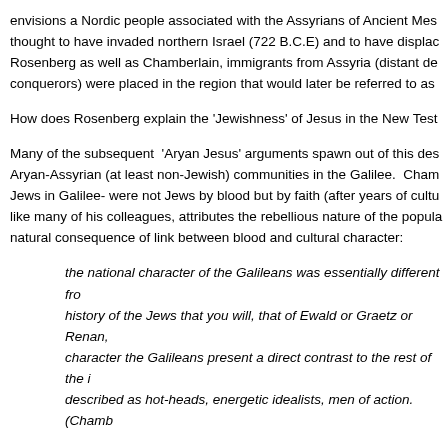envisions a Nordic people associated with the Assyrians of Ancient Mes thought to have invaded northern Israel (722 B.C.E) and to have displac Rosenberg as well as Chamberlain, immigrants from Assyria (distant de conquerors) were placed in the region that would later be referred to as
How does Rosenberg explain the 'Jewishness' of Jesus in the New Test
Many of the subsequent 'Aryan Jesus' arguments spawn out of this des Aryan-Assyrian (at least non-Jewish) communities in the Galilee. Cham Jews in Galilee- were not Jews by blood but by faith (after years of cultu like many of his colleagues, attributes the rebellious nature of the popula natural consequence of link between blood and cultural character:
the national character of the Galileans was essentially different fro history of the Jews that you will, that of Ewald or Graetz or Renan, character the Galileans present a direct contrast to the rest of the i described as hot-heads, energetic idealists, men of action. (Chamb
Needless to say, Rosenberg's hypothesis troubles me as a reader but w disturbing is how his 'theory' on Jesus is not an isolated incident among